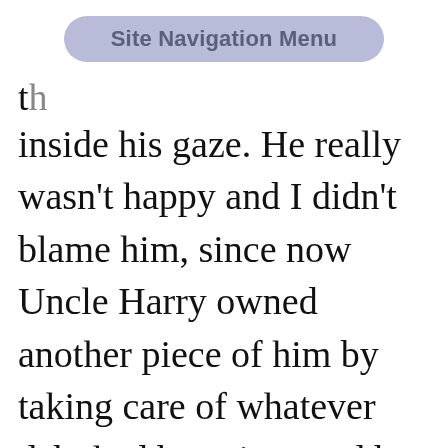[Figure (screenshot): Site Navigation Menu button overlay — a rounded pill-shaped button with label 'Site Navigation Menu' in gray-blue color on a light periwinkle background]
th... ...y
inside his gaze. He really wasn't happy and I didn't blame him, since now Uncle Harry owned another piece of him by taking care of whatever debt had been incurred by being in the mines. I kept my mouth shut and watched Parrot hop and skip along the mine, keeping up